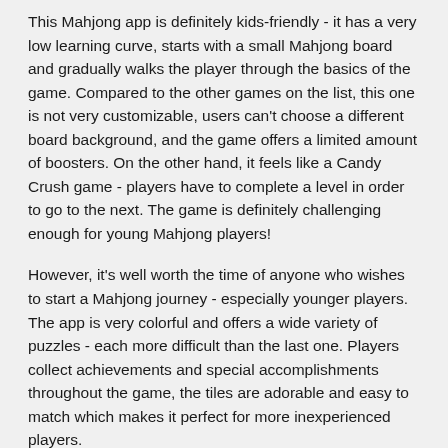This Mahjong app is definitely kids-friendly - it has a very low learning curve, starts with a small Mahjong board and gradually walks the player through the basics of the game. Compared to the other games on the list, this one is not very customizable, users can't choose a different board background, and the game offers a limited amount of boosters. On the other hand, it feels like a Candy Crush game - players have to complete a level in order to go to the next. The game is definitely challenging enough for young Mahjong players!
However, it's well worth the time of anyone who wishes to start a Mahjong journey - especially younger players. The app is very colorful and offers a wide variety of puzzles - each more difficult than the last one. Players collect achievements and special accomplishments throughout the game, the tiles are adorable and easy to match which makes it perfect for more inexperienced players.